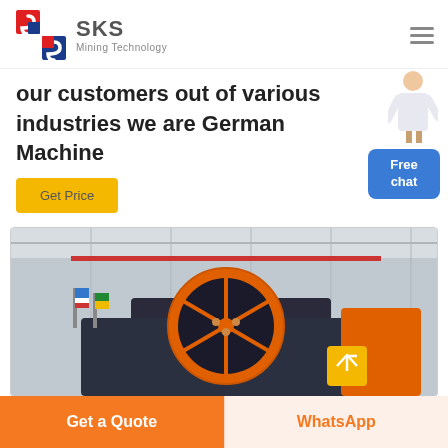[Figure (logo): SKS Mining Technology logo with red and blue geometric icon and brand name]
our customers out of various industries we are German Machine
[Figure (photo): Industrial mining machine with large orange flywheel in a factory/exhibition hall]
Get Price
Free chat
Get a Quote
WhatsApp